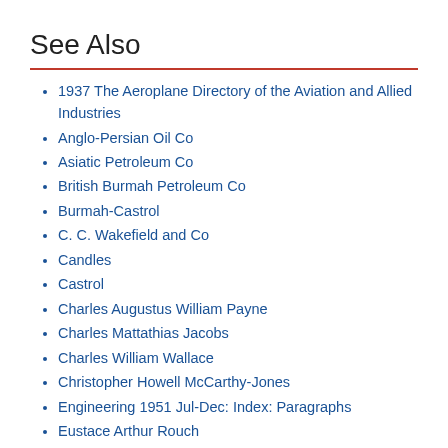See Also
1937 The Aeroplane Directory of the Aviation and Allied Industries
Anglo-Persian Oil Co
Asiatic Petroleum Co
British Burmah Petroleum Co
Burmah-Castrol
C. C. Wakefield and Co
Candles
Castrol
Charles Augustus William Payne
Charles Mattathias Jacobs
Charles William Wallace
Christopher Howell McCarthy-Jones
Engineering 1951 Jul-Dec: Index: Paragraphs
Eustace Arthur Rouch
Fujifilm Speciality Ink Systems